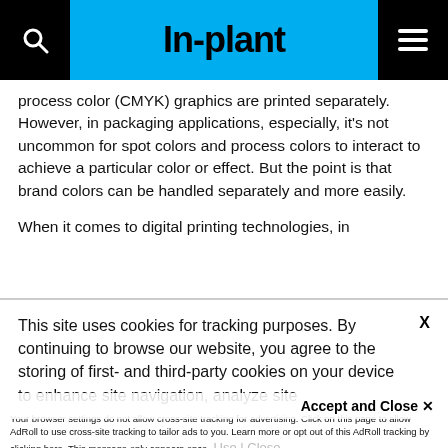In-plant
process color (CMYK) graphics are printed separately. However, in packaging applications, especially, it's not uncommon for spot colors and process colors to interact to achieve a particular color or effect. But the point is that brand colors can be handled separately and more easily.

When it comes to digital printing technologies, in
This site uses cookies for tracking purposes. By continuing to browse our website, you agree to the storing of first- and third-party cookies on your device to enhance site navigation, analyze site usage, and assist in our marketing and
Accept and Close ✕
Your browser settings do not allow cross-site tracking for advertising. Click on this page to allow AdRoll to use cross-site tracking to tailor ads to you. Learn more or opt out of this AdRoll tracking by clicking here. This message only appears once.